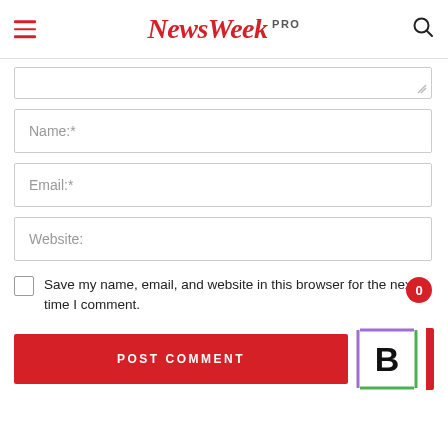NewsWeek PRO
[Figure (screenshot): Partial textarea form field at top]
Name:*
Email:*
Website:
Save my name, email, and website in this browser for the next time I comment.
POST COMMENT